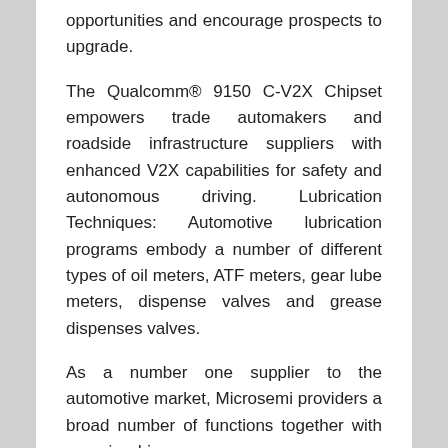opportunities and encourage prospects to upgrade.
The Qualcomm® 9150 C-V2X Chipset empowers trade automakers and roadside infrastructure suppliers with enhanced V2X capabilities for safety and autonomous driving. Lubrication Techniques: Automotive lubrication programs embody a number of different types of oil meters, ATF meters, gear lube meters, dispense valves and grease dispenses valves.
As a number one supplier to the automotive market, Microsemi providers a broad number of functions together with superior driver